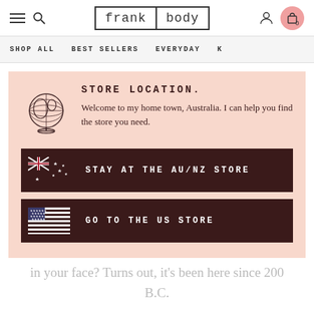frank body
SHOP ALL   BEST SELLERS   EVERYDAY   K
STORE LOCATION.
Welcome to my home town, Australia. I can help you find the store you need.
STAY AT THE AU/NZ STORE
GO TO THE US STORE
in your face? Turns out, it's been here since 200 B.C.